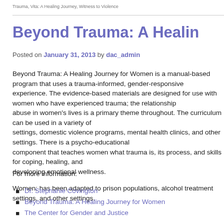Trauma, Vita: A Healing Journey, Witness to Violence
Beyond Trauma: A Healing Journey for Women
Posted on January 31, 2013 by dac_admin
Beyond Trauma: A Healing Journey for Women is a manual-based program that uses a trauma-informed, gender-responsive approach. The evidence-based materials are designed for use with women who have experienced trauma; the relationship between substance abuse in women’s lives is a primary theme throughout. The curriculum can be used in a variety of settings, domestic violence programs, mental health clinics, and other settings. There is a psycho-educational component that teaches women what trauma is, its process, and skills for coping, healing, and developing emotional wellness.
Women; has been adapted to prison populations, alcohol treatment settings, and other settings.
For more information:
Dr. Stephanie Covington
Beyond Trauma: A Healing Journey for Women
The Center for Gender and Justice